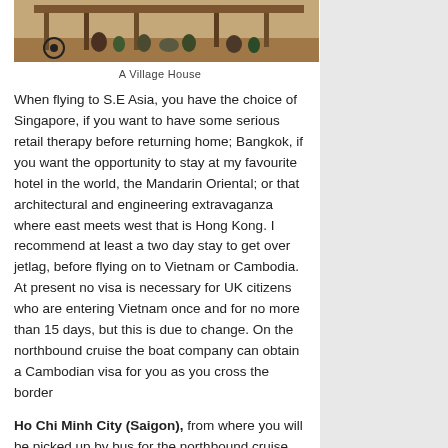[Figure (photo): Photo of a village house with people and goods under raised structure]
A Village House
When flying to S.E Asia, you have the choice of Singapore, if you want to have some serious retail therapy before returning home; Bangkok, if you want the opportunity to stay at my favourite hotel in the world, the Mandarin Oriental; or that architectural and engineering extravaganza where east meets west that is Hong Kong. I recommend at least a two day stay to get over jetlag, before flying on to Vietnam or Cambodia. At present no visa is necessary for UK citizens who are entering Vietnam once and for no more than 15 days, but this is due to change. On the northbound cruise the boat company can obtain a Cambodian visa for you as you cross the border
Ho Chi Minh City (Saigon), from where you will be picked up by bus for the northbound cruise,